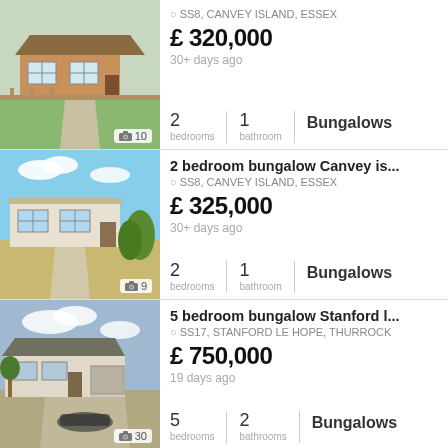[Figure (photo): Exterior photo of a brick bungalow with fence and garden, Canvey Island]
SS8, CANVEY ISLAND, ESSEX
£ 320,000
30+ days ago
2 bedrooms | 1 bathroom | Bungalows
2 bedroom bungalow Canvey is...
[Figure (photo): Exterior photo of a white bungalow with tropical plants, Canvey Island]
SS8, CANVEY ISLAND, ESSEX
£ 325,000
30+ days ago
2 bedrooms | 1 bathroom | Bungalows
5 bedroom bungalow Stanford l...
[Figure (photo): Exterior photo of a large bungalow with double garage, Stanford le Hope]
SS17, STANFORD LE HOPE, THURROCK
£ 750,000
19 days ago
5 bedrooms | 2 bathrooms | Bungalows